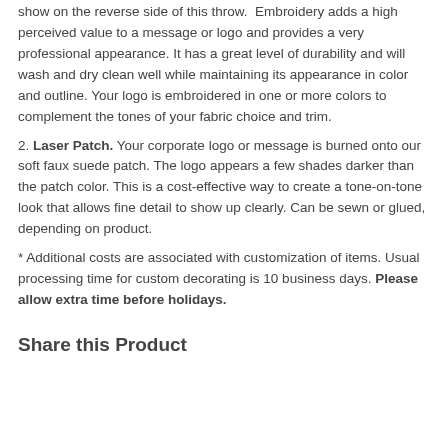show on the reverse side of this throw. Embroidery adds a high perceived value to a message or logo and provides a very professional appearance. It has a great level of durability and will wash and dry clean well while maintaining its appearance in color and outline. Your logo is embroidered in one or more colors to complement the tones of your fabric choice and trim.
2. Laser Patch. Your corporate logo or message is burned onto our soft faux suede patch. The logo appears a few shades darker than the patch color. This is a cost-effective way to create a tone-on-tone look that allows fine detail to show up clearly. Can be sewn or glued, depending on product.
* Additional costs are associated with customization of items. Usual processing time for custom decorating is 10 business days. Please allow extra time before holidays.
Share this Product